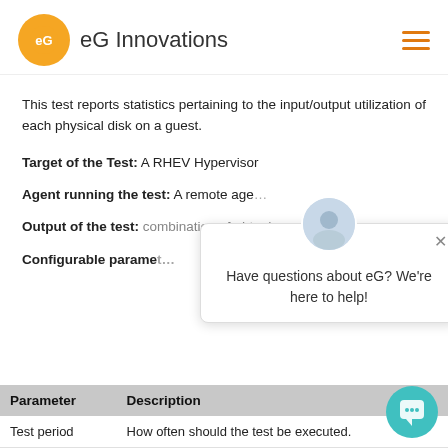eG Innovations
This test reports statistics pertaining to the input/output utilization of each physical disk on a guest.
Target of the Test: A RHEV Hypervisor
Agent running the test: A remote agent
Output of the test: combination of virtual_
Configurable parameters
| Parameter | Description |
| --- | --- |
| Test period | How often should the test be executed. |